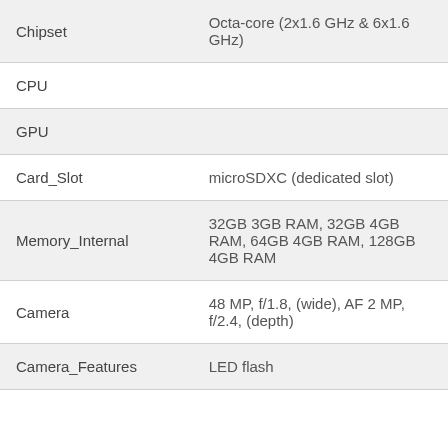| Feature | Value |
| --- | --- |
| Chipset | Octa-core (2x1.6 GHz & 6x1.6 GHz) |
| CPU |  |
| GPU |  |
| Card_Slot | microSDXC (dedicated slot) |
| Memory_Internal | 32GB 3GB RAM, 32GB 4GB RAM, 64GB 4GB RAM, 128GB 4GB RAM |
| Camera | 48 MP, f/1.8, (wide), AF 2 MP, f/2.4, (depth) |
| Camera_Features | LED flash |